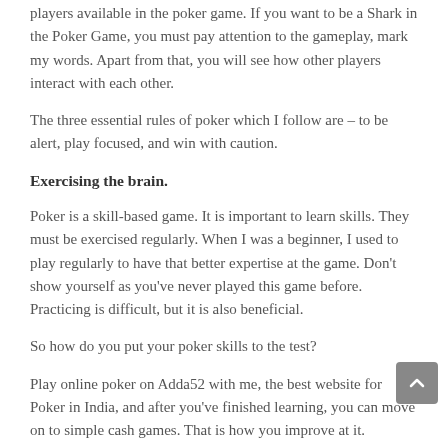players available in the poker game. If you want to be a Shark in the Poker Game, you must pay attention to the gameplay, mark my words. Apart from that, you will see how other players interact with each other.
The three essential rules of poker which I follow are – to be alert, play focused, and win with caution.
Exercising the brain.
Poker is a skill-based game. It is important to learn skills. They must be exercised regularly. When I was a beginner, I used to play regularly to have that better expertise at the game. Don't show yourself as you've never played this game before. Practicing is difficult, but it is also beneficial.
So how do you put your poker skills to the test?
Play online poker on Adda52 with me, the best website for Poker in India, and after you've finished learning, you can move on to simple cash games. That is how you improve at it.
Don't rush! I repeat. Don't rush.